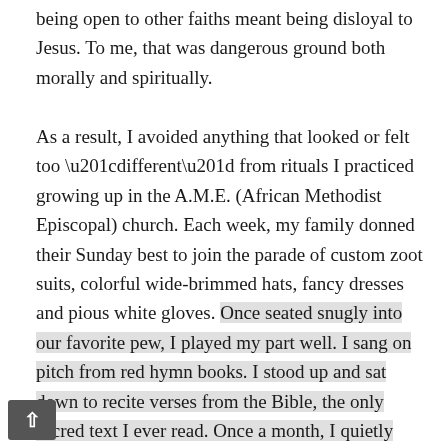being open to other faiths meant being disloyal to Jesus. To me, that was dangerous ground both morally and spiritually.

As a result, I avoided anything that looked or felt too “different” from rituals I practiced growing up in the A.M.E. (African Methodist Episcopal) church. Each week, my family donned their Sunday best to join the parade of custom zoot suits, colorful wide-brimmed hats, fancy dresses and pious white gloves. Once seated snugly into our favorite pew, I played my part well. I sang on pitch from red hymn books. I stood up and sat down to recite verses from the Bible, the only sacred text I ever read. Once a month, I quietly endured three-hour communion services with bread, crackers and grape juice without looking bored, and watched attentively during sermons by charismatic pastors who were assigned to preach, shout and stomp the